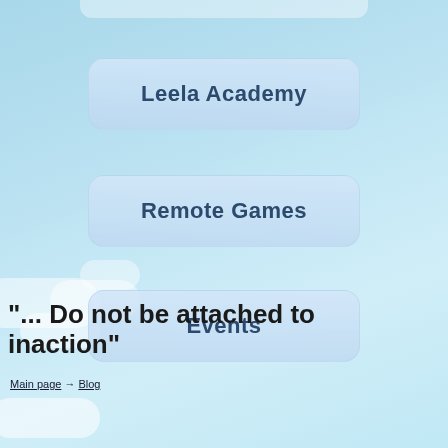[Figure (screenshot): Sky background with clouds, navigation menu buttons and quote text for a website interface]
Leela Academy
Remote Games
Events
"... Do not be attached to inaction"
Main page → Blog